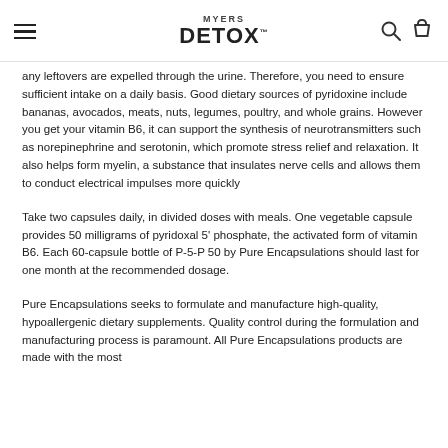MYERS DETOX
any leftovers are expelled through the urine. Therefore, you need to ensure sufficient intake on a daily basis. Good dietary sources of pyridoxine include bananas, avocados, meats, nuts, legumes, poultry, and whole grains. However you get your vitamin B6, it can support the synthesis of neurotransmitters such as norepinephrine and serotonin, which promote stress relief and relaxation. It also helps form myelin, a substance that insulates nerve cells and allows them to conduct electrical impulses more quickly
Take two capsules daily, in divided doses with meals. One vegetable capsule provides 50 milligrams of pyridoxal 5' phosphate, the activated form of vitamin B6. Each 60-capsule bottle of P-5-P 50 by Pure Encapsulations should last for one month at the recommended dosage.
Pure Encapsulations seeks to formulate and manufacture high-quality, hypoallergenic dietary supplements. Quality control during the formulation and manufacturing process is paramount. All Pure Encapsulations products are made with the most